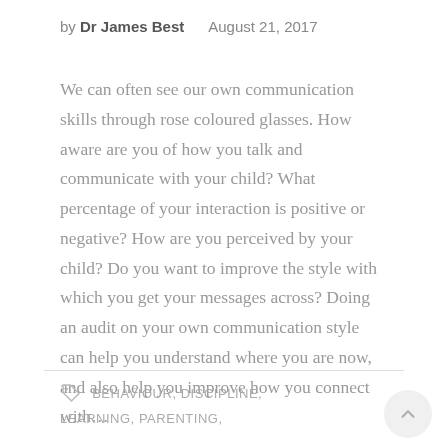by Dr James Best   August 21, 2017
We can often see our own communication skills through rose coloured glasses. How aware are you of how you talk and communicate with your child? What percentage of your interaction is positive or negative? How are you perceived by your child? Do you want to improve the style with which you get your messages across? Doing an audit on your own communication style can help you understand where you are now, and also help you improve how you connect with…
BEHAVIOUR, DISCIPLINE, LEARNING, PARENTING,